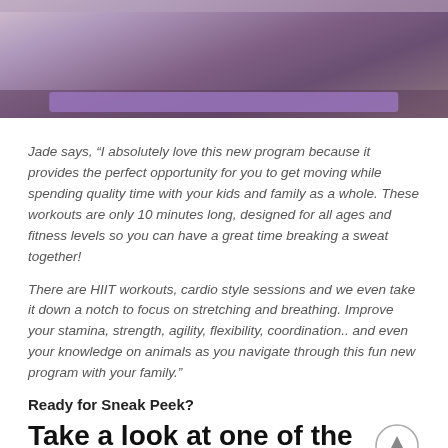[Figure (photo): Two or more people on a purple yoga mat doing a stretching exercise, viewed from above/side, on a wooden floor.]
Jade says, “I absolutely love this new program because it provides the perfect opportunity for you to get moving while spending quality time with your kids and family as a whole. These workouts are only 10 minutes long, designed for all ages and fitness levels so you can have a great time breaking a sweat together!
There are HIIT workouts, cardio style sessions and we even take it down a notch to focus on stretching and breathing. Improve your stamina, strength, agility, flexibility, coordination.. and even your knowledge on animals as you navigate through this fun new program with your family.”
Ready for Sneak Peek?
Take a look at one of the New Workouts from the APP!